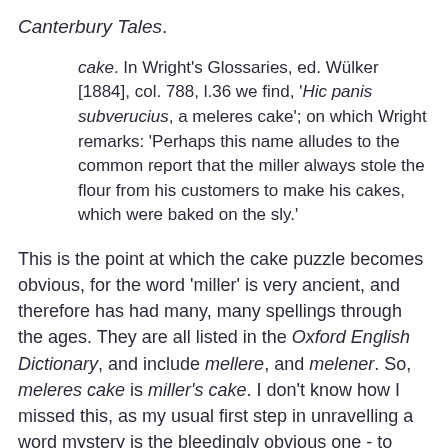Canterbury Tales.
cake. In Wright's Glossaries, ed. Wülker [1884], col. 788, l.36 we find, 'Hic panis subverucius, a meleres cake'; on which Wright remarks: 'Perhaps this name alludes to the common report that the miller always stole the flour from his customers to make his cakes, which were baked on the sly.'
This is the point at which the cake puzzle becomes obvious, for the word 'miller' is very ancient, and therefore has had many, many spellings through the ages. They are all listed in the Oxford English Dictionary, and include mellere, and melener. So, meleres cake is miller's cake. I don't know how I missed this, as my usual first step in unravelling a word mystery is the bleedingly obvious one - to plumb the depths of the OED.
This is also the point at which the story becomes delightful. How delightful is that phrase panis subverucius?  Surely, given the explanation in Wright's Glossary, it means 'subversive bread'? And how much fun is that?  A minor